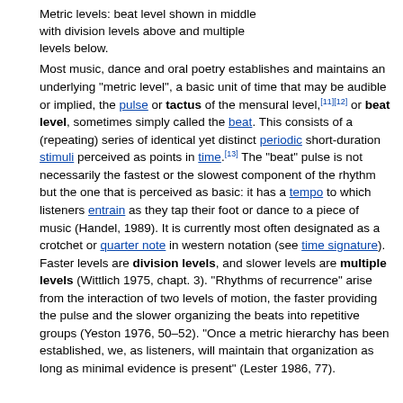Metric levels: beat level shown in middle with division levels above and multiple levels below.
Most music, dance and oral poetry establishes and maintains an underlying "metric level", a basic unit of time that may be audible or implied, the pulse or tactus of the mensural level,[11][12] or beat level, sometimes simply called the beat. This consists of a (repeating) series of identical yet distinct periodic short-duration stimuli perceived as points in time.[13] The "beat" pulse is not necessarily the fastest or the slowest component of the rhythm but the one that is perceived as basic: it has a tempo to which listeners entrain as they tap their foot or dance to a piece of music (Handel, 1989). It is currently most often designated as a crotchet or quarter note in western notation (see time signature). Faster levels are division levels, and slower levels are multiple levels (Wittlich 1975, chapt. 3). "Rhythms of recurrence" arise from the interaction of two levels of motion, the faster providing the pulse and the slower organizing the beats into repetitive groups (Yeston 1976, 50–52). "Once a metric hierarchy has been established, we, as listeners, will maintain that organization as long as minimal evidence is present" (Lester 1986, 77).